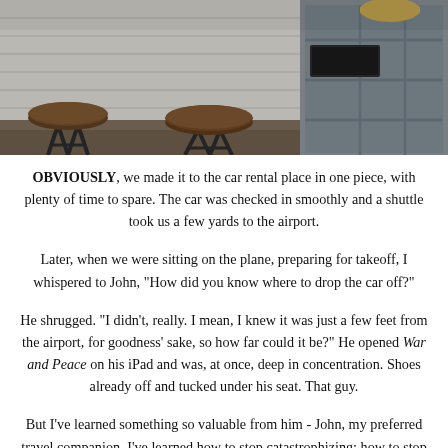[Figure (photo): Interior photo of what appears to be industrial-style stools and wooden furniture/shelving in a rustic space]
OBVIOUSLY, we made it to the car rental place in one piece, with plenty of time to spare. The car was checked in smoothly and a shuttle took us a few yards to the airport.
Later, when we were sitting on the plane, preparing for takeoff, I whispered to John, "How did you know where to drop the car off?"
He shrugged. "I didn't, really. I mean, I knew it was just a few feet from the airport, for goodness' sake, so how far could it be?" He opened War and Peace on his iPad and was, at once, deep in concentration. Shoes already off and tucked under his seat. That guy.
But I've learned something so valuable from him - John, my preferred travel companion. I've learned how to stop catastrophizing; how to stop predicting the worst. And when the worst strikes, how to problem-solve - not stress.
Do you suffer from travel anxiety too? Or are you great at dealing with anything unexpected that comes your way? I'd love to know (plus, any